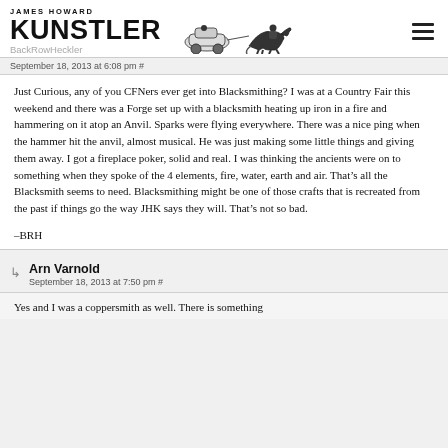JAMES HOWARD KUNSTLER BackRowHeckler
September 18, 2013 at 6:08 pm #
Just Curious, any of you CFNers ever get into Blacksmithing? I was at a Country Fair this weekend and there was a Forge set up with a blacksmith heating up iron in a fire and hammering on it atop an Anvil. Sparks were flying everywhere. There was a nice ping when the hammer hit the anvil, almost musical. He was just making some little things and giving them away. I got a fireplace poker, solid and real. I was thinking the ancients were on to something when they spoke of the 4 elements, fire, water, earth and air. That's all the Blacksmith seems to need. Blacksmithing might be one of those crafts that is recreated from the past if things go the way JHK says they will. That's not so bad.
–BRH
Arn Varnold
September 18, 2013 at 7:50 pm #
Yes and I was a coppersmith as well. There is something